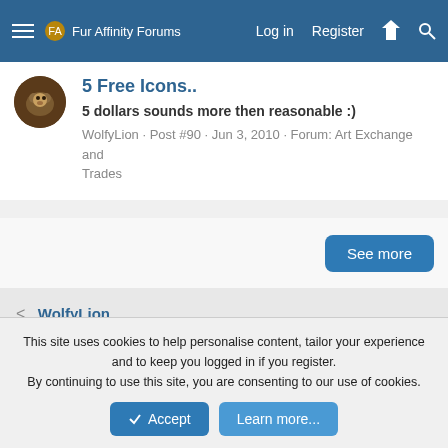Fur Affinity Forums  Log in  Register
5 Free Icons..
5 dollars sounds more then reasonable :)
WolfyLion · Post #90 · Jun 3, 2010 · Forum: Art Exchange and Trades
See more
< WolfyLion
✏ Default Style  Contact us  Terms and rules  Privacy policy  Help  Home  Community platform by XenForo® © 2010-2021 XenForo Ltd.
This site uses cookies to help personalise content, tailor your experience and to keep you logged in if you register. By continuing to use this site, you are consenting to our use of cookies.  Accept  Learn more...